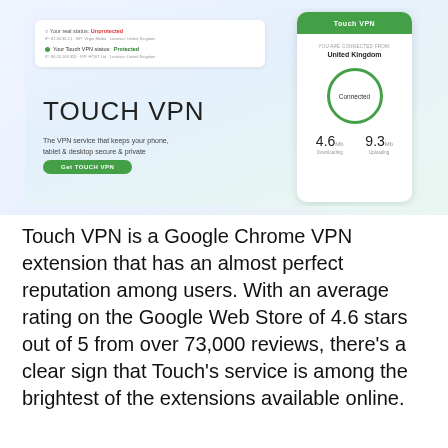[Figure (screenshot): Touch VPN app screenshot showing status panel with 'Unprotected' and 'Protected' states, large 'TOUCH VPN' heading, tagline, green 'Get TOUCH VPN' button, and a phone UI showing 'Connected' from United Kingdom with speed stats 4.6 downloading and 9.3 uploading.]
Touch VPN is a Google Chrome VPN extension that has an almost perfect reputation among users. With an average rating on the Google Web Store of 4.6 stars out of 5 from over 73,000 reviews, there’s a clear sign that Touch’s service is among the brightest of the extensions available online.